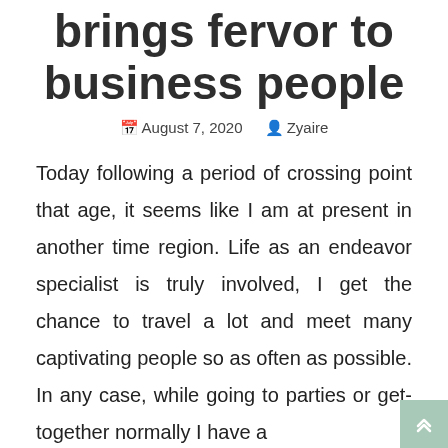brings fervor to business people
August 7, 2020  Zyaire
Today following a period of crossing point that age, it seems like I am at present in another time region. Life as an endeavor specialist is truly involved, I get the chance to travel a lot and meet many captivating people so as often as possible. In any case, while going to parties or get-together normally I have a